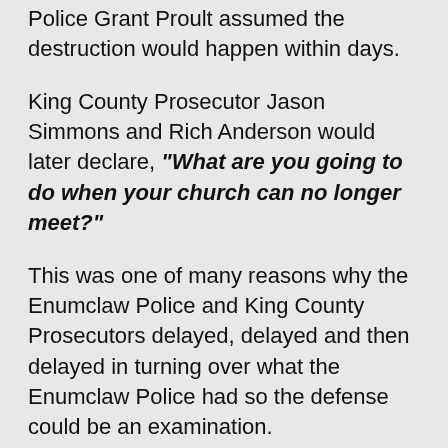Police Grant Proult assumed the destruction would happen within days.
King County Prosecutor Jason Simmons and Rich Anderson would later declare, "What are you going to do when your church can no longer meet?"
This was one of many reasons why the Enumclaw Police and King County Prosecutors delayed, delayed and then delayed in turning over what the Enumclaw Police had so the defense could be an examination.
Thus King County Prosecutors and Enumclaw Police deliberately delayed hoping that WinePress Publishing, Sound Doctrine Christian Church and the Salt Shaker Christian bookstore would be completely